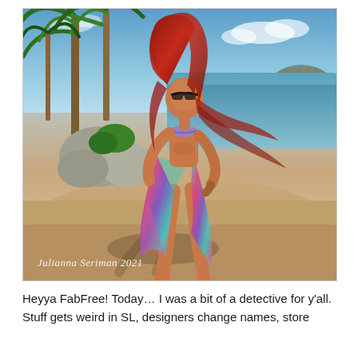[Figure (illustration): A 3D rendered / digital illustration of a female avatar with long red hair, wearing sunglasses, a purple bikini top, and a colorful flowing sarong skirt in teal, pink, and purple hues. She stands on a sandy beach with palm trees and rocks on the left, ocean in the background right, and a clear blue sky. Her shadow is cast on the sand. Watermark text 'Julianna Seriman 2021' in italic white at lower left.]
Heyya FabFree! Today… I was a bit of a detective for y'all. Stuff gets weird in SL, designers change names, store disappear, you name it… I was sitting all